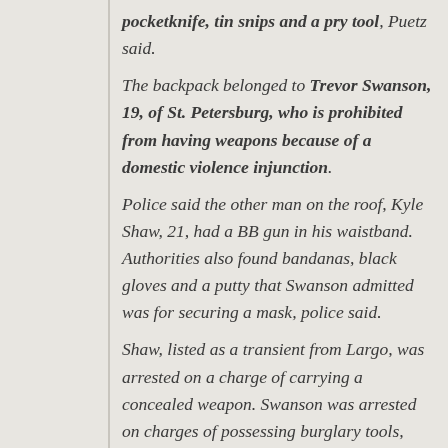pocketknife, tin snips and a pry tool, Puetz said. The backpack belonged to Trevor Swanson, 19, of St. Petersburg, who is prohibited from having weapons because of a domestic violence injunction. Police said the other man on the roof, Kyle Shaw, 21, had a BB gun in his waistband. Authorities also found bandanas, black gloves and a putty that Swanson admitted was for securing a mask, police said. Shaw, listed as a transient from Largo, was arrested on a charge of carrying a concealed weapon. Swanson was arrested on charges of possessing burglary tools, violating an injunction and being a delinquent felon in possession of a weapon.